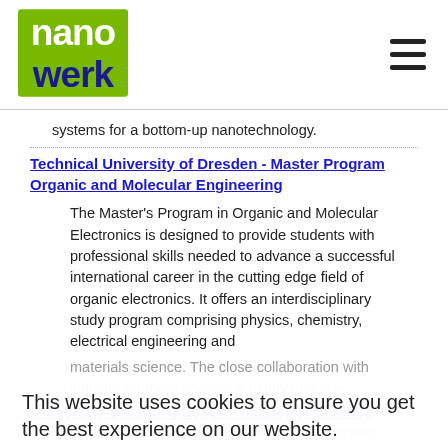nanowerk
systems for a bottom-up nanotechnology.
Technical University of Dresden - Master Program Organic and Molecular Engineering
The Master's Program in Organic and Molecular Electronics is designed to provide students with professional skills needed to advance a successful international career in the cutting edge field of organic electronics. It offers an interdisciplinary study program comprising physics, chemistry, electrical engineering and materials science. The close collaboration with industry partners enables a highly practice-oriented education. Moreover, we strongly focus on developing soft skills required in an everyday professional lives of our future graduates, such us project management, patent law, and much more.
This website uses cookies to ensure you get the best experience on our website.
Cookie policy
University Duisburg Essen - Master of Science (M.Sc.) Nano Engineering